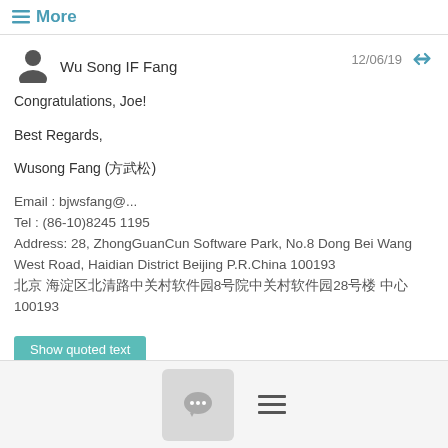≡ More
Wu Song IF Fang — 12/06/19
Congratulations, Joe!
Best Regards,
Wusong Fang (方武松)
Email : bjwsfang@...
Tel : (86-10)8245 1195
Address: 28, ZhongGuanCun Software Park, No.8 Dong Bei Wang West Road, Haidian District Beijing P.R.China 100193
北京 海淀区北清路中关村软件园8号院中关村软件园28号楼 中心100193
Show quoted text